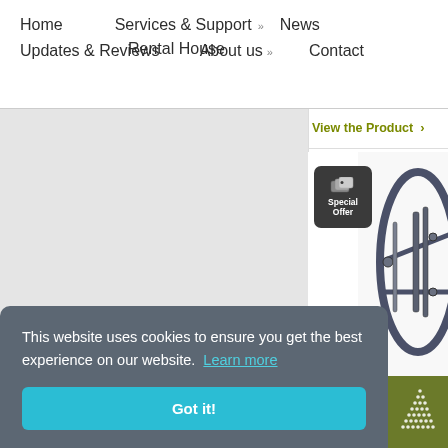Home   Services & Support »   Rental House   News   Updates & Reviews   About us »   Contact
View the Product >
[Figure (photo): Special Offer badge (dark rounded rectangle with tag icon and text 'Special Offer') overlaid on a partial product photo of a mechanical/climbing harness device in dark metallic blue-grey color.]
Price:
Online price
[Figure (logo): Olive/army green square logo with white dotted triangle/mountain pattern.]
This website uses cookies to ensure you get the best experience on our website.  Learn more
Got it!